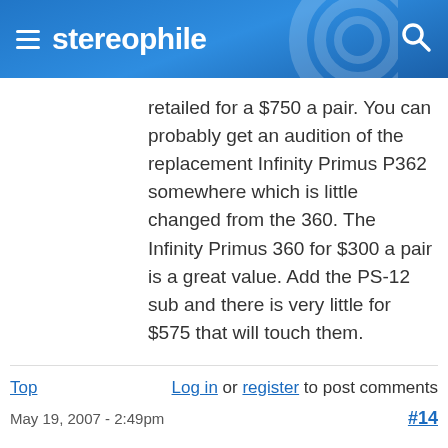stereophile
retailed for a $750 a pair. You can probably get an audition of the replacement Infinity Primus P362 somewhere which is little changed from the 360. The Infinity Primus 360 for $300 a pair is a great value. Add the PS-12 sub and there is very little for $575 that will touch them.
Top   Log in or register to post comments
May 19, 2007 - 2:49pm   #14